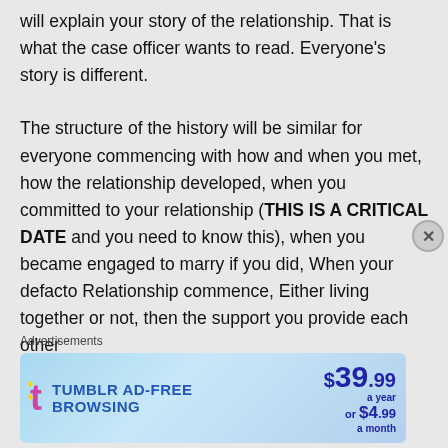will explain your story of the relationship. That is what the case officer wants to read. Everyone's story is different.
The structure of the history will be similar for everyone commencing with how and when you met, how the relationship developed, when you committed to your relationship (THIS IS A CRITICAL DATE and you need to know this), when you became engaged to marry if you did, When your defacto Relationship commence, Either living together or not, then the support you provide each other
Advertisements
[Figure (other): Tumblr Ad-Free Browsing advertisement banner showing $39.99 a year or $4.99 a month pricing]